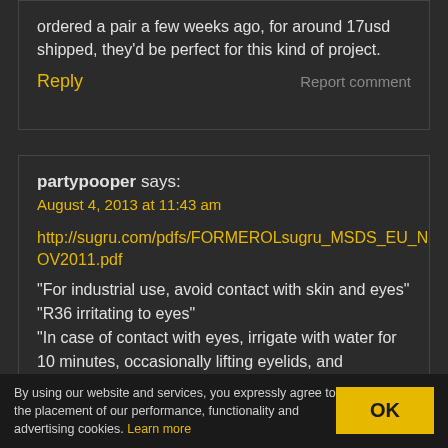ordered a pair a few weeks ago, for around 17usd shipped, they'd be perfect for this kind of project.
Reply
Report comment
partypooper says:
August 4, 2013 at 11:43 am
http://sugru.com/pdfs/FORMEROLsugru_MSDS_EU_NOV2011.pdf
“For industrial use, avoid contact with skin and eyes” “R36 irritating to eyes” “In case of contact with eyes, irrigate with water for 10 minutes, occasionally lifting eyelids, and removing contact lenses if easy to do. Seek medical advice if
By using our website and services, you expressly agree to the placement of our performance, functionality and advertising cookies. Learn more